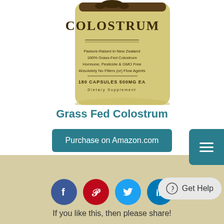[Figure (photo): Product image of Colostrum supplement bottle - COLOSTRUM label visible with text: Pasture-Raised in New Zealand, 100% Grass-Fed Colostrum, Hormone, Pesticide & GMO Free, Absolutely No Fillers (or) Flow Agents, 180 Capsules 500MG EA, Dietary Supplement]
Grass Fed Colostrum
Purchase on Amazon.com
[Figure (screenshot): Social media sharing icons: Facebook (blue circle), Pinterest (red circle), Twitter (light blue circle), LinkedIn (teal circle), and a Get Help button on the right]
If you like this, then please share!